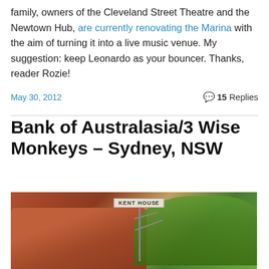family, owners of the Cleveland Street Theatre and the Newtown Hub, are currently renovating the Marina with the aim of turning it into a live music venue. My suggestion: keep Leonardo as your bouncer. Thanks, reader Rozie!
May 30, 2012
15 Replies
Bank of Australasia/3 Wise Monkeys – Sydney, NSW
[Figure (photo): Photo of a red brick building (Kent House sign visible at top) with street light pole in front and trees on the right side.]